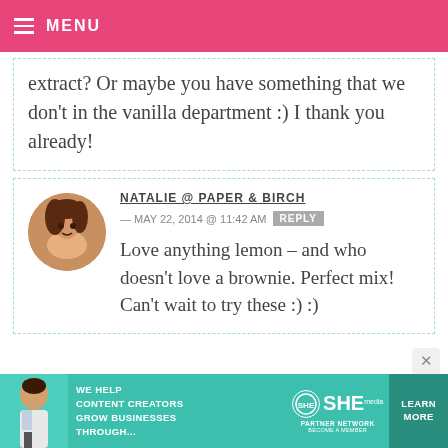MENU
extract? Or maybe you have something that we don't in the vanilla department :) I thank you already!
NATALIE @ PAPER & BIRCH — MAY 22, 2014 @ 11:42 AM
Love anything lemon – and who doesn't love a brownie. Perfect mix! Can't wait to try these :) :)
[Figure (infographic): Advertisement banner for SHE Media Partner Network — teal background with woman figure, text 'WE HELP CONTENT CREATORS GROW BUSINESSES THROUGH...', SHE logo, and 'LEARN MORE' button]